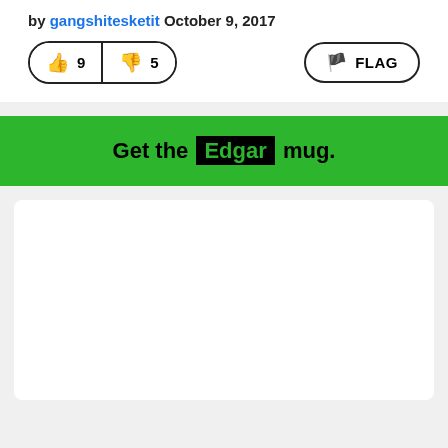by gangshitesketit October 9, 2017
[Figure (other): Thumbs up button with count 9, thumbs down button with count 5, and a FLAG button on the right]
Get the Edgar mug.
[Figure (other): White card/advertisement area below the green banner]